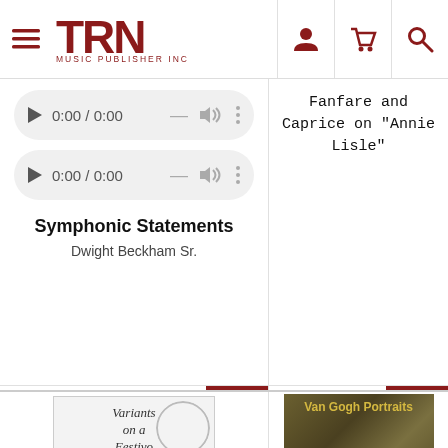[Figure (screenshot): TRN Music Publisher Inc website header with hamburger menu, TRN logo, person icon, cart icon, and search icon]
[Figure (screenshot): Audio player control showing 0:00 / 0:00 with play button, dash, volume icon, and more options dots]
[Figure (screenshot): Second audio player control showing 0:00 / 0:00 with play button, dash, volume icon, and more options dots]
Symphonic Statements
Dwight Beckham Sr.
$14.00 - $95.00
Fanfare and Caprice on "Annie Lisle"
$12.00 - $95.00
[Figure (photo): Book/score cover for 'Variants on a Festivo' with decorative design]
[Figure (photo): Book/score cover for 'Van Gogh Portraits' with yellowish portrait image]